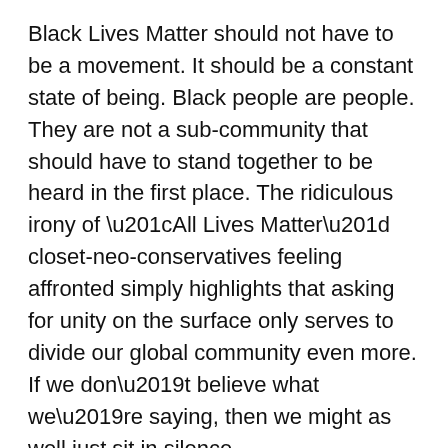Black Lives Matter should not have to be a movement. It should be a constant state of being. Black people are people. They are not a sub-community that should have to stand together to be heard in the first place. The ridiculous irony of “All Lives Matter” closet-neo-conservatives feeling affronted simply highlights that asking for unity on the surface only serves to divide our global community even more. If we don’t believe what we’re saying, then we might as well just sit in silence.
The Black Lives Matter foundation was founded in 2013. (https://blacklivesmatter.com/) When 17-year-old Trayvon Martin lost his life, another young black man lost the ability to fully see out his potential. George Zimmerman took this from him and, following his acquittal, the hashtag went viral. After